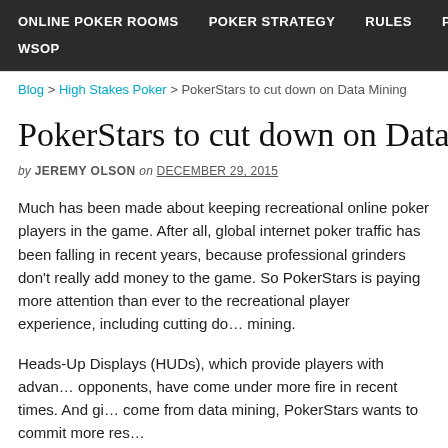ONLINE POKER ROOMS   POKER STRATEGY   RULES   POKER N   WSOP
Blog > High Stakes Poker > PokerStars to cut down on Data Mining
PokerStars to cut down on Data Minin
by JEREMY OLSON on DECEMBER 29, 2015
Much has been made about keeping recreational online poker players in the game. After all, global internet poker traffic has been falling in recent years, because professional grinders don't really add money to the game. So PokerStars is paying more attention than ever to the recreational player experience, including cutting down on the practice of data mining.
Heads-Up Displays (HUDs), which provide players with advanced statistics on their opponents, have come under more fire in recent times. And given that HUD data tends to come from data mining, PokerStars wants to commit more res